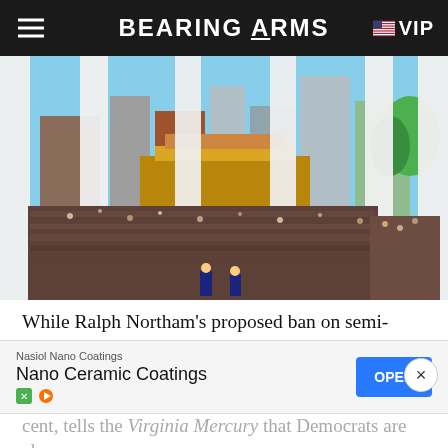BEARING ARMS  VIP
[Figure (photo): Aerial view of a large crowd gathered at the Virginia State Capitol building, photographed from behind white columns on the Capitol portico. Thousands of people fill the grounds below. City skyline visible in background.]
While Ralph Northam's proposed ban on semi-automatic rifles, shotguns, and some pistols is getting a lot of attention from Virginia gun owners, that's not the only gun ban Democrats will be considering when they convene the 2020 legislative session in a couple of
[Figure (other): Advertisement banner: Nasiol Nano Coatings - Nano Ceramic Coatings with OPEN button]
cent, tells the Virginia Mercury that Democrats are also